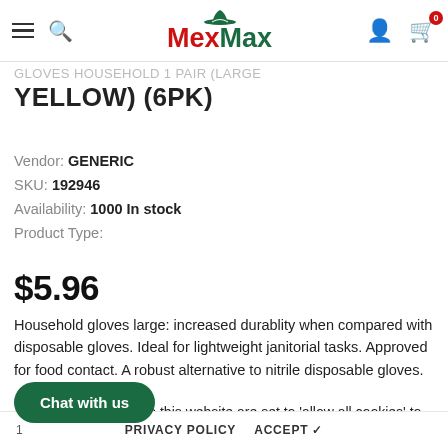MexMax — GLOVES HOUSEHOLD 1 PAIR (LARGE YELLOW) (6PK)
YELLOW) (6PK)
Vendor: GENERIC
SKU: 192946
Availability: 1000 In stock
Product Type:
$5.96
Household gloves large: increased durablity when compared with disposable gloves. Ideal for lightweight janitorial tasks. Approved for food contact. A robust alternative to nitrile disposable gloves.
Subtotal: $5.96
The cookie settings on this website are set to 'allow all cookies' to give you the best experience. Please click Accept Cookies to continue to use the site.
Chat with us
1   PRIVACY POLICY   ACCEPT ✔